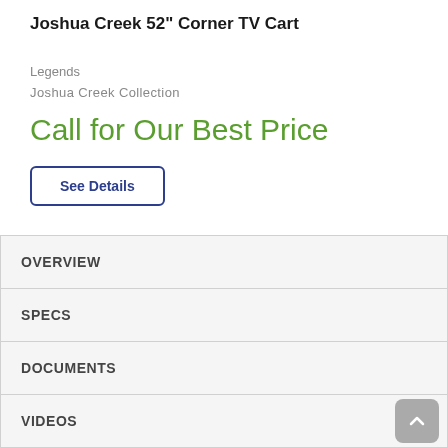Joshua Creek 52" Corner TV Cart
Legends
Joshua Creek Collection
Call for Our Best Price
See Details
OVERVIEW
SPECS
DOCUMENTS
VIDEOS